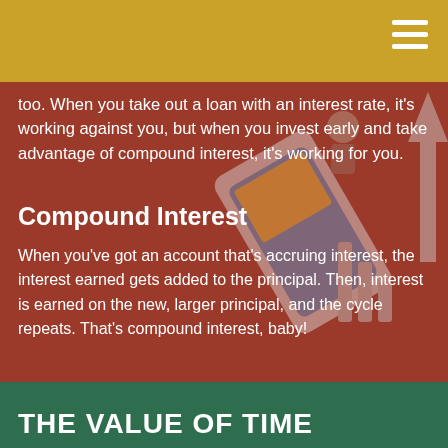too. When you take out a loan with an interest rate, it's working against you, but when you invest early and take advantage of compound interest, it's working for you.
Compound Interest
When you've got an account that's accruing interest, the interest earned gets added to the principal. Then, interest is earned on the new, larger principal, and the cycle repeats. That's compound interest, baby!
THE VALUE OF TIME